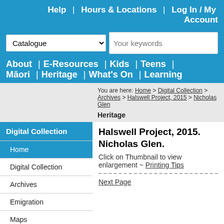Help | Hours & Locations | Log In / My Account
Catalogue [dropdown] Your keywords [search input]
About | E-Resources | Kids | Teens | Māori | Heritage | What's On | Learning
You are here: Home > Digital Collection > Archives > Halswell Project, 2015 > Nicholas Glen
Heritage
Digital Collection
Home
Digital Collection
Archives
Emigration
Maps
Photographs
Posters
Halswell Project, 2015. Nicholas Glen.
Click on Thumbnail to view enlargement ~ Printing Tips
Next Page